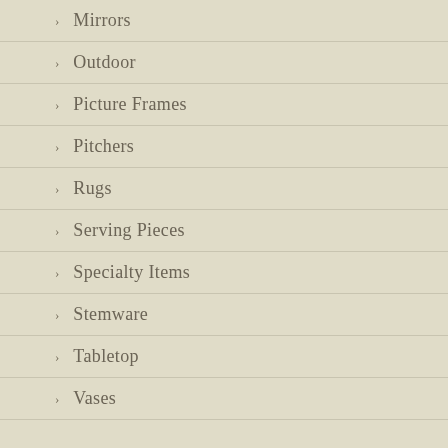Mirrors
Outdoor
Picture Frames
Pitchers
Rugs
Serving Pieces
Specialty Items
Stemware
Tabletop
Vases